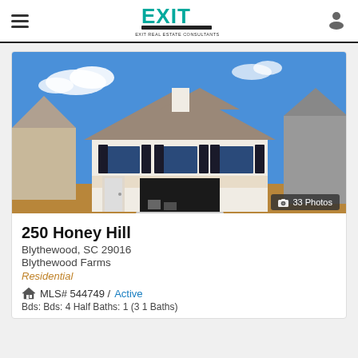EXIT Real Estate Consultants
[Figure (photo): Exterior photo of a new two-story white residential home under construction with dark shutters, an open two-car garage, and dirt yard. Blue sky with light clouds in background.]
33 Photos
250 Honey Hill
Blythewood, SC 29016
Blythewood Farms
Residential
MLS# 544749 / Active
Bds: Bds: 4 Half Baths: 1 (3 1 Baths)